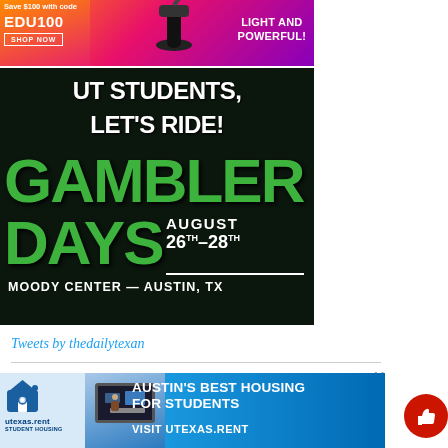[Figure (photo): Advertisement banner: Save $100 with code EDU100, SHOP NOW button, vacuum cleaner image, LIGHT AND POWERFUL! text on gradient orange-pink-purple background]
[Figure (photo): UT Students, Let's Ride! Gambler Days August 26th-28th Moody Center – Austin, TX event advertisement on dark background with green text]
Tweets by thedailytexan
[Figure (photo): Bottom banner advertisement: utexas.rent student housing – Austin's Best Housing For Students – Visit UtexasRent, with X close button and red thumbs-up button]